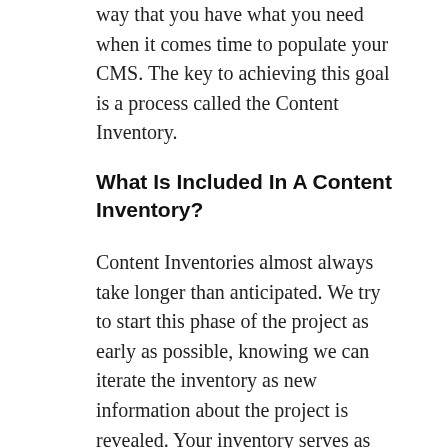way that you have what you need when it comes time to populate your CMS. The key to achieving this goal is a process called the Content Inventory.
What Is Included In A Content Inventory?
Content Inventories almost always take longer than anticipated. We try to start this phase of the project as early as possible, knowing we can iterate the inventory as new information about the project is revealed. Your inventory serves as the starting point for developing your IA and as the roadmap for ensuring all content is migrated to the new site. While many documents are created in the course of a web development project, chances are your content inventory will become your primary tool and